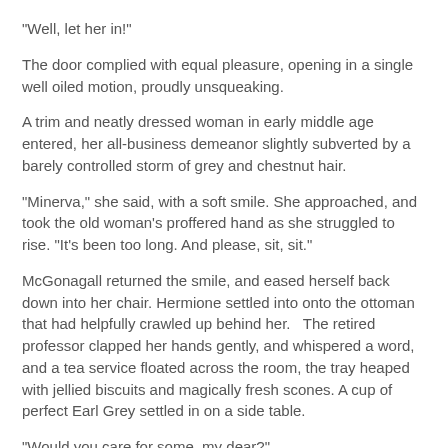"Well, let her in!"
The door complied with equal pleasure, opening in a single well oiled motion, proudly unsqueaking.
A trim and neatly dressed woman in early middle age entered, her all-business demeanor slightly subverted by a barely controlled storm of grey and chestnut hair.
"Minerva," she said, with a soft smile.  She approached, and took the old woman's proffered hand as she struggled to rise.  "It's been too long.  And please, sit, sit."
McGonagall returned the smile, and eased herself back down into her chair.  Hermione settled into onto the ottoman that had helpfully crawled up behind her.   The retired professor clapped her hands gently, and whispered a word, and a tea service floated across the room, the tray heaped with jellied biscuits and magically fresh scones.  A cup of perfect Earl Grey settled in on a side table.
"Would you care for some, my dear?"